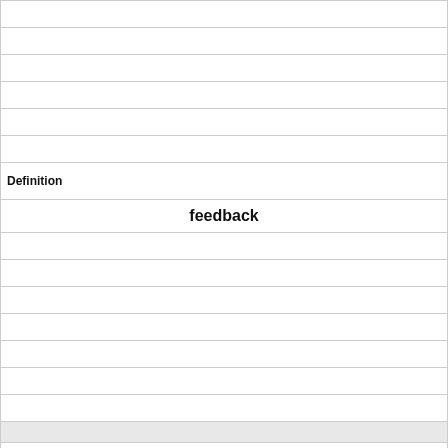|  |  |
|  |  |
|  |  |
|  |  |
|  |  |
|  |  |
| Definition |  |
|  | feedback |
|  |  |
|  |  |
|  |  |
|  |  |
|  |  |
|  |  |
|  |  |
|  |  |
| Term |  |
|  | do feedforward systems depend on sensory feedback for |